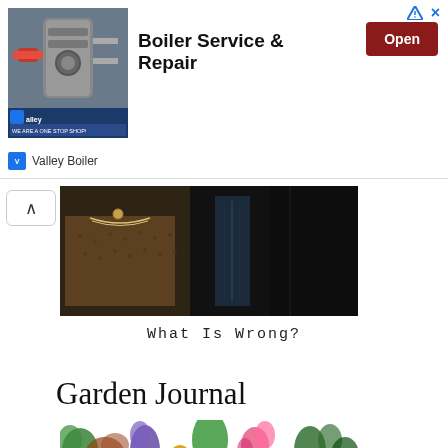[Figure (screenshot): Advertisement banner for Valley Boiler showing 'Boiler Service & Repair' with an industrial boiler image, an Open button, and Valley Boiler branding at bottom. Ad icons (arrow and X) in top right corner.]
[Figure (photo): Partial photograph showing figures in dark clothing, appears to be a parody or reproduction of American Gothic painting with industrial elements in background.]
What Is Wrong?
Garden Journal
[Figure (illustration): Botanical illustration showing various garden flowers and plants including ivy, iris, rudbeckia, bleeding heart and other flowers. Text 'The' visible at bottom center.]